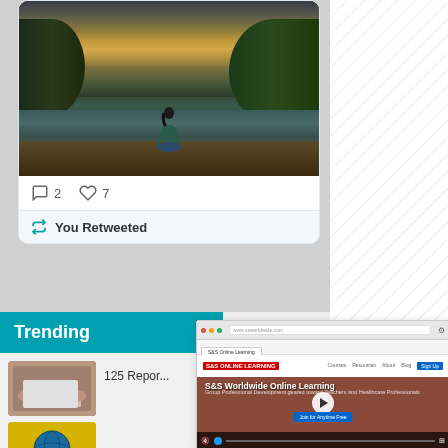[Figure (screenshot): Tweet card showing woman meditating by a lake at sunset/dusk, viewed from behind, sitting on a dock]
2  7
You Retweeted
[Figure (screenshot): Diagonal hatching pattern on right side of page]
Trending
125 Repor
[Figure (screenshot): S&S Worldwide Online Learning website screenshot showing video player with play button]
[Figure (photo): Thumbnail of hands on laptop keyboard]
[Figure (photo): Thumbnail of globe/world icon on yellow background]